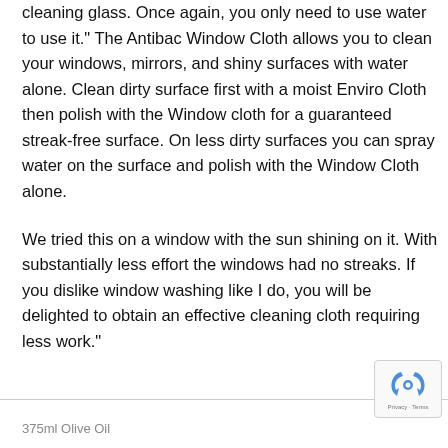cleaning glass. Once again, you only need to use water to use it." The Antibac Window Cloth allows you to clean your windows, mirrors, and shiny surfaces with water alone. Clean dirty surface first with a moist Enviro Cloth then polish with the Window cloth for a guaranteed streak-free surface. On less dirty surfaces you can spray water on the surface and polish with the Window Cloth alone.

We tried this on a window with the sun shining on it. With substantially less effort the windows had no streaks. If you dislike window washing like I do, you will be delighted to obtain an effective cleaning cloth requiring less work."
375ml Olive Oil